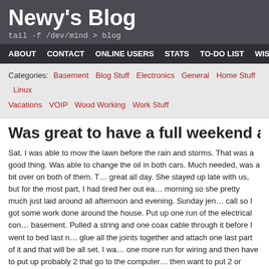Newy's Blog
tail -f /dev/mind > blog
ABOUT  CONTACT  ONLINE USERS  STATS  TO-DO LIST  WISH LIST
Categories: Basement  Blog Stuff  Electronics  General  Home Stuff  Linux  Vacations  VOIP  Wood Working  Work Stuff
Was great to have a full weekend again
Sat. I was able to mow the lawn before the rain and storms. That was a good thing. Was able to change the oil in both cars. Much needed, was a bit over on both of them. The dog was great all day. She stayed up late with us, but for the most part, I had tired her out early in the morning so she pretty much just laid around all afternoon and evening. Sunday jen had a call so I got some work done around the house. Put up one run of the electrical conduit in the basement. Pulled a string and one coax cable through it before I went to bed last night. Need to glue all the joints together and attach one last part of it and that will be all set. I want to do one more run for wiring and then have to put up probably 2 that go to the computer area and then want to put 2 or three runs just down the wall on the utility room side. Just for flexibility if I want anything there. Have to figure out where I want to put the projector but really need to buy one first and then setup the projector to see how big of a screen I want to get and what distance and what now. Bought the tools and piping so I can sweat together the tu